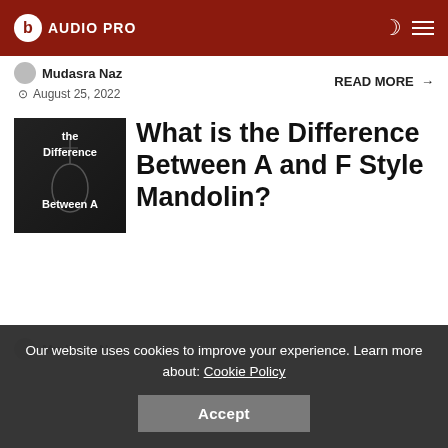AUDIO PRO
Mudasra Naz
August 25, 2022
READ MORE →
[Figure (photo): Black and white photo of a mandolin with overlaid text reading 'the Difference Between A']
What is the Difference Between A and F Style Mandolin?
Mudasra Naz
Our website uses cookies to improve your experience. Learn more about: Cookie Policy
Accept